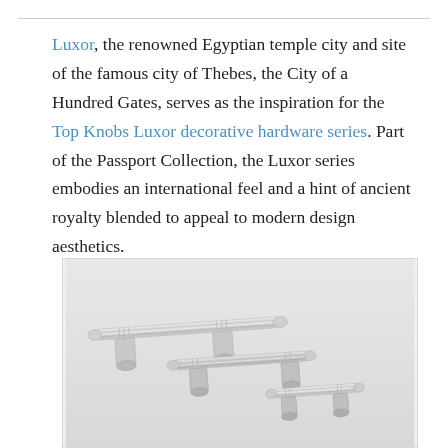Luxor, the renowned Egyptian temple city and site of the famous city of Thebes, the City of a Hundred Gates, serves as the inspiration for the Top Knobs Luxor decorative hardware series. Part of the Passport Collection, the Luxor series embodies an international feel and a hint of ancient royalty blended to appeal to modern design aesthetics.
[Figure (photo): Photo of three decorative cabinet bar pulls/handles in brushed nickel/chrome finish, shown in different lengths, arranged diagonally on a light gray background.]